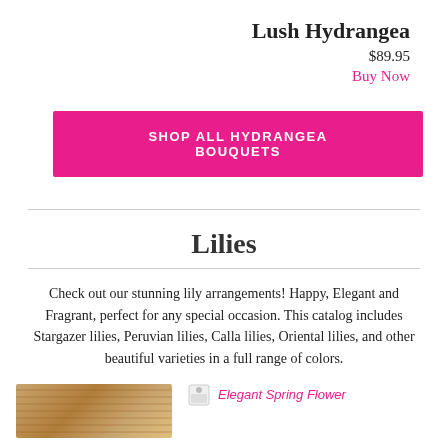Lush Hydrangea
$89.95
Buy Now
SHOP ALL HYDRANGEA BOUQUETS
Lilies
Check out our stunning lily arrangements! Happy, Elegant and Fragrant, perfect for any special occasion. This catalog includes Stargazer lilies, Peruvian lilies, Calla lilies, Oriental lilies, and other beautiful varieties in a full range of colors.
[Figure (photo): Thumbnail image of a lily arrangement with warm brown/golden tones]
Elegant Spring Flower